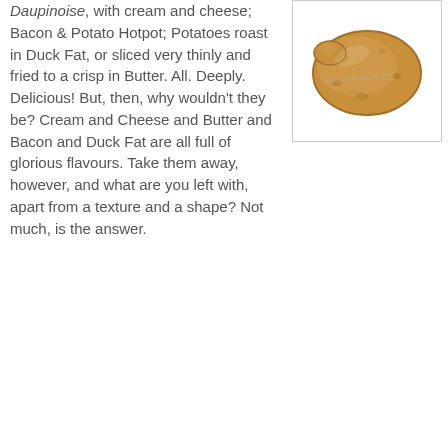Daupinoise, with cream and cheese; Bacon & Potato Hotpot; Potatoes roast in Duck Fat, or sliced very thinly and fried to a crisp in Butter. All. Deeply. Delicious! But, then, why wouldn't they be? Cream and Cheese and Butter and Bacon and Duck Fat are all full of glorious flavours. Take them away, however, and what are you left with, apart from a texture and a shape? Not much, is the answer.
[Figure (photo): A single raw potato photographed on a white background with a watermark visible.]